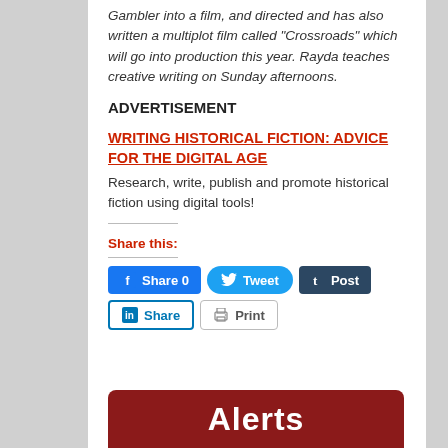Gambler into a film, and directed and has also written a multiplot film called “Crossroads” which will go into production this year. Rayda teaches creative writing on Sunday afternoons.
ADVERTISEMENT
WRITING HISTORICAL FICTION: ADVICE FOR THE DIGITAL AGE
Research, write, publish and promote historical fiction using digital tools!
Share this:
[Figure (screenshot): Social share buttons: Facebook Share 0, Twitter Tweet, Tumblr Post, LinkedIn Share, Print]
[Figure (other): Red banner with white text reading 'Alerts']